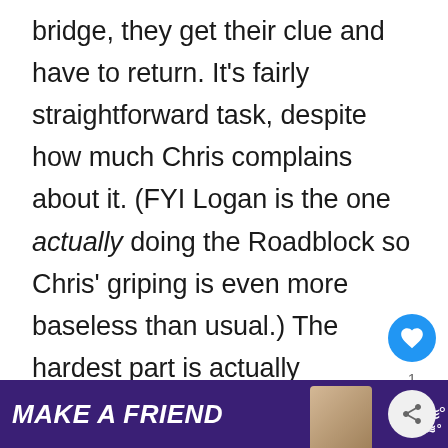bridge, they get their clue and have to return. It's fairly straightforward task, despite how much Chris complains about it. (FYI Logan is the one actually doing the Roadblock so Chris' griping is even more baseless than usual.) The hardest part is actually navigating on the crowded and hectic Indian streets on the b[…]. This is a running feature of Leg 10.
[Figure (screenshot): What's Next widget showing 'The Amazing Race 10...' with a circular grey thumbnail labeled 'uddy']
[Figure (infographic): Advertisement banner with purple background reading 'MAKE A FRIEND' in bold italic white text, with a dog image and a heart icon, plus a close button and a logo.]